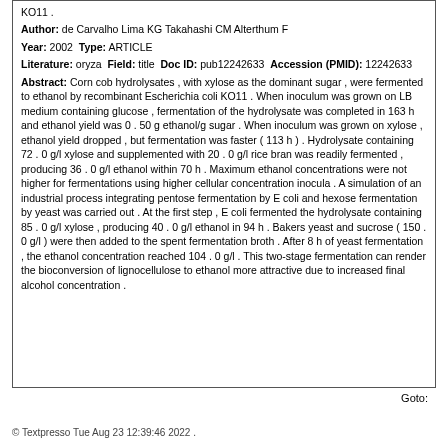KO11 .
Author: de Carvalho Lima KG Takahashi CM Alterthum F
Year: 2002 Type: ARTICLE
Literature: oryza Field: title Doc ID: pub12242633 Accession (PMID): 12242633
Abstract: Corn cob hydrolysates , with xylose as the dominant sugar , were fermented to ethanol by recombinant Escherichia coli KO11 . When inoculum was grown on LB medium containing glucose , fermentation of the hydrolysate was completed in 163 h and ethanol yield was 0 . 50 g ethanol/g sugar . When inoculum was grown on xylose , ethanol yield dropped , but fermentation was faster ( 113 h ) . Hydrolysate containing 72 . 0 g/l xylose and supplemented with 20 . 0 g/l rice bran was readily fermented , producing 36 . 0 g/l ethanol within 70 h . Maximum ethanol concentrations were not higher for fermentations using higher cellular concentration inocula . A simulation of an industrial process integrating pentose fermentation by E coli and hexose fermentation by yeast was carried out . At the first step , E coli fermented the hydrolysate containing 85 . 0 g/l xylose , producing 40 . 0 g/l ethanol in 94 h . Bakers yeast and sucrose ( 150 . 0 g/l ) were then added to the spent fermentation broth . After 8 h of yeast fermentation , the ethanol concentration reached 104 . 0 g/l . This two-stage fermentation can render the bioconversion of lignocellulose to ethanol more attractive due to increased final alcohol concentration .
Goto:
© Textpresso Tue Aug 23 12:39:46 2022 .